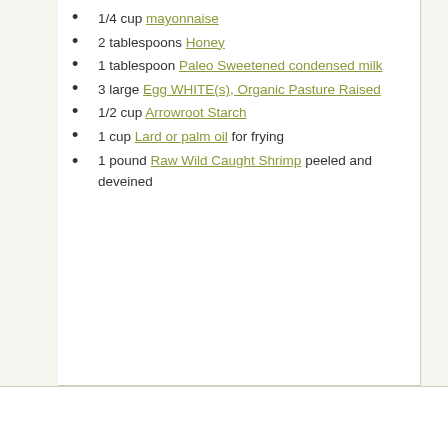1/4 cup mayonnaise
2 tablespoons Honey
1 tablespoon Paleo Sweetened condensed milk
3 large Egg WHITE(s), Organic Pasture Raised
1/2 cup Arrowroot Starch
1 cup Lard or palm oil for frying
1 pound Raw Wild Caught Shrimp peeled and deveined